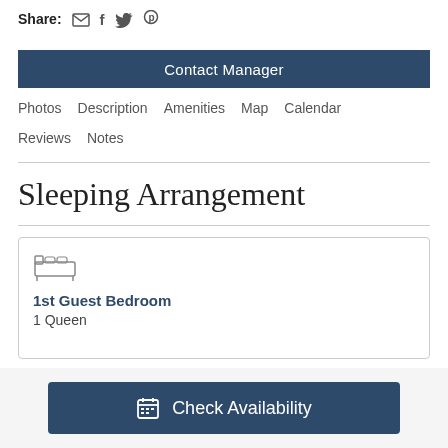Share: ✉ f 🐦 ⓟ
Contact Manager
Photos   Description   Amenities   Map   Calendar   Reviews   Notes
Sleeping Arrangement
1st Guest Bedroom
1 Queen
Check Availability